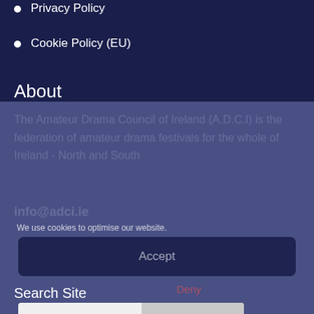Privacy Policy
Cookie Policy (EU)
About
The Amateur Drama Council of Ireland (A.D.C.I) is the federation of amateur drama festivals for the whole of Ireland - North and South
info@adci.ie
We use cookies to optimise our website.
Accept
Search Site
Deny
Search
Preferences
Cookie Policy  Privacy Policy